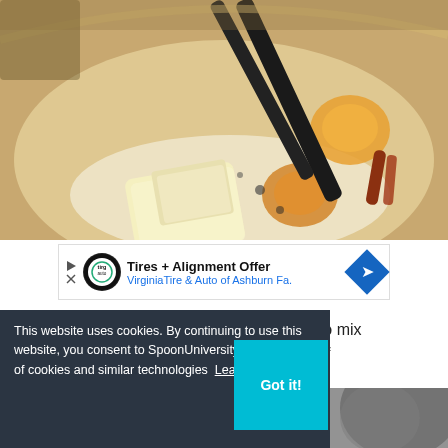[Figure (photo): Close-up photo of cooking in a pan: butter, eggs, and other ingredients being stirred with black tongs/spatula in a light-colored pan]
[Figure (other): Advertisement banner: Tires + Alignment Offer from Virginia Tire & Auto of Ashburn Fa. with logo and blue arrow icon]
e sure to mix lumps of
[Figure (photo): Bottom portion of another food cooking photo, partially visible]
This website uses cookies. By continuing to use this website, you consent to SpoonUniversity.com's usage of cookies and similar technologies  Learn more
Got it!